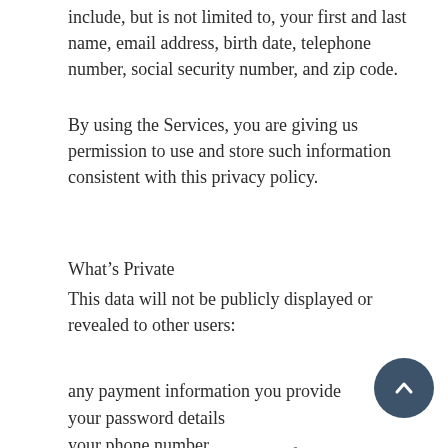include, but is not limited to, your first and last name, email address, birth date, telephone number, social security number, and zip code.
By using the Services, you are giving us permission to use and store such information consistent with this privacy policy.
What’s Private
This data will not be publicly displayed or revealed to other users:
any payment information you provide
your password details
your phone number
We don’t give your personal information to any third-party services, except when it’s necessary to provide the S (like when we partner with payment processors). When we share data with third-party services, that ...